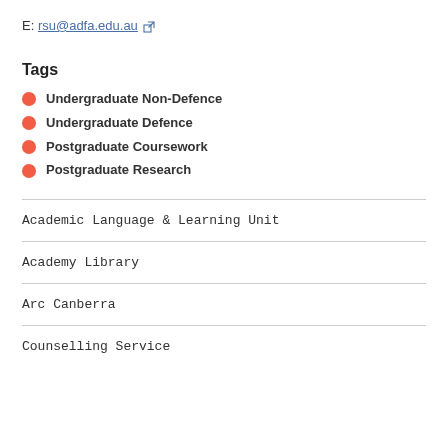E: rsu@adfa.edu.au
Tags
Undergraduate Non-Defence
Undergraduate Defence
Postgraduate Coursework
Postgraduate Research
Academic Language & Learning Unit
Academy Library
Arc Canberra
Counselling Service